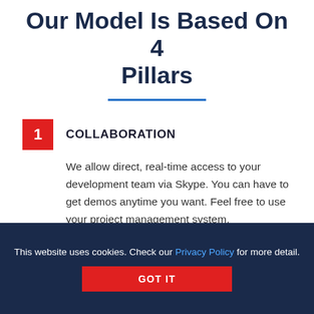Our Model Is Based On 4 Pillars
1 COLLABORATION
We allow direct, real-time access to your development team via Skype. You can have to get demos anytime you want. Feel free to use your project management system.
2 TRANSPARENCY
This website uses cookies. Check our Privacy Policy for more detail.